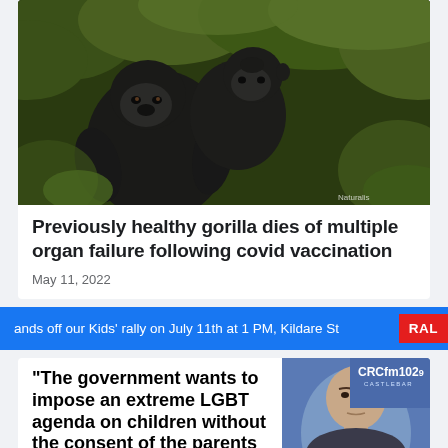[Figure (photo): Two gorillas in green foliage — an adult gorilla facing left with a baby gorilla clinging to its back. Naturalis watermark in bottom right.]
Previously healthy gorilla dies of multiple organ failure following covid vaccination
May 11, 2022
ands off our Kids' rally on July 11th at 1 PM, Kildare St  RAL
"The government wants to impose an extreme LGBT agenda on children without the consent of the parents
[Figure (photo): Man's face partially visible on blue background with CRCfm 102.9 Castlebar logo in top right corner]